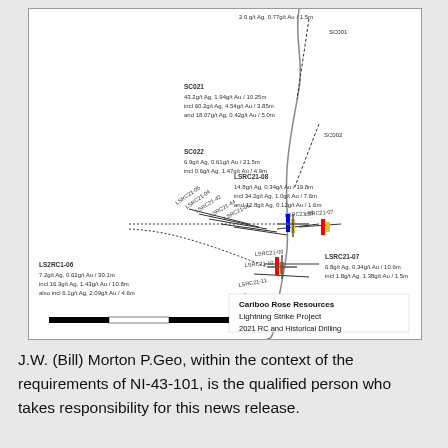[Figure (map): Geological map of Cariboo Rose Resources Lightning Strike Project showing 2021 RC and Historical Drilling locations. Map shows drill hole traces (LSRC21-series and SC-series) with assay results annotated. Key results include: SC021: 43.2g/t Ag, 1.94g/t Au / 10.25m incl 60.2g/t Ag, 4.54g/t Au / 3.85m and 18.07g/t Ag, 0.42g/t Au / 5.0m; SC022: 6.9g/t Ag, 0.61g/t Au / 21.5m incl 0.6g/t Ag, 1.47g/t Au / 4.9m; LSRC21-08: 14.8g/t Ag, 0.34g/t Au / 19.8m incl 34.2g/t Ag, 1.0g/t Au / 7.6m and 12.8g/t Ag, 0.12g/t Au / 1.6m; LS2RC1-06: 7.2g/t Ag, 0.62g/t Au / 30.1m incl 16.3g/t Ag, 1.43g/t Au / 10.8m also incl 6.1g/t Ag, 2.09g/t Au / 4.6m; LSRC21-07: 6.8g/t Ag, 0.34g/t Au / 10.6m incl 1.8g/t Ag, 1.38g/t Au / 1.5m. Scale bar shown at bottom. Legend: Cariboo Rose Resources Lightning Strike Project 2021 RC and Historical Drilling.]
J.W. (Bill) Morton P.Geo, within the context of the requirements of NI-43-101, is the qualified person who takes responsibility for this news release.